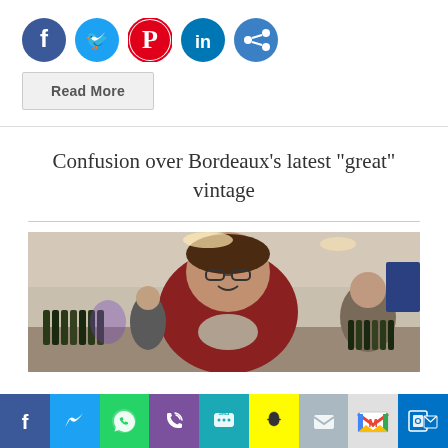[Figure (infographic): Social share icons: Facebook (blue circle), Twitter (light blue circle), Pinterest (red circle), LinkedIn (dark blue circle), Share (blue circle)]
Read More
Confusion over Bordeaux's latest “great” vintage
[Figure (photo): A man in a red sweater smiling at a wine tasting event, surrounded by wine bottles and other attendees in the background.]
[Figure (infographic): Bottom share bar with colored icons: Facebook (blue), Twitter (light blue), WhatsApp (green), phone/Viber (purple), SMS (teal/blue), Snapchat (yellow), Email (grey), Gmail (light grey/M), Outlook (dark blue)]